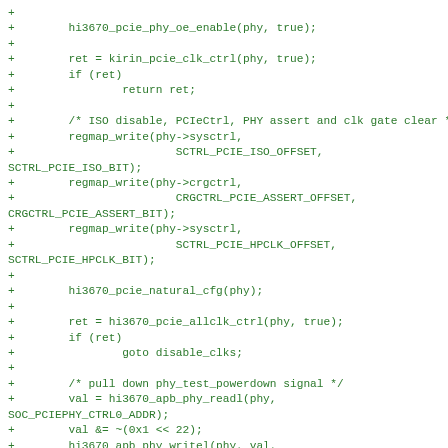+
+        hi3670_pcie_phy_oe_enable(phy, true);
+
+        ret = kirin_pcie_clk_ctrl(phy, true);
+        if (ret)
+                return ret;
+
+        /* ISO disable, PCIeCtrl, PHY assert and clk gate clear */
+        regmap_write(phy->sysctrl,
+                        SCTRL_PCIE_ISO_OFFSET,
SCTRL_PCIE_ISO_BIT);
+        regmap_write(phy->crgctrl,
+                        CRGCTRL_PCIE_ASSERT_OFFSET,
CRGCTRL_PCIE_ASSERT_BIT);
+        regmap_write(phy->sysctrl,
+                        SCTRL_PCIE_HPCLK_OFFSET,
SCTRL_PCIE_HPCLK_BIT);
+
+        hi3670_pcie_natural_cfg(phy);
+
+        ret = hi3670_pcie_allclk_ctrl(phy, true);
+        if (ret)
+                goto disable_clks;
+
+        /* pull down phy_test_powerdown signal */
+        val = hi3670_apb_phy_readl(phy,
SOC_PCIEPHY_CTRL0_ADDR);
+        val &= ~(0x1 << 22);
+        hi3670_apb_phy_writel(phy, val,